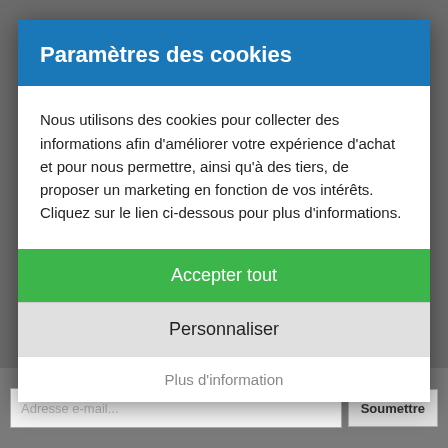Paramètres des cookies
Nous utilisons des cookies pour collecter des informations afin d'améliorer votre expérience d'achat et pour nous permettre, ainsi qu'à des tiers, de proposer un marketing en fonction de vos intérêts. Cliquez sur le lien ci-dessous pour plus d'informations.
Accepter tout
Personnaliser
Plus d'information
Adresse e-mail...
Soumettre